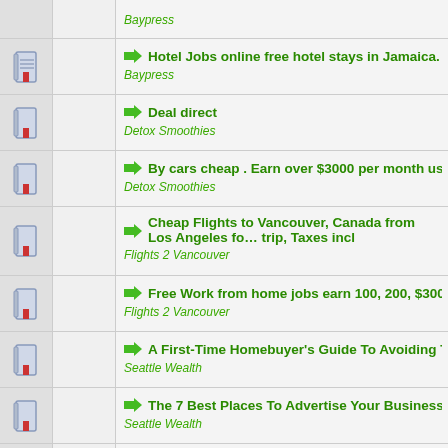Baypress
Hotel Jobs online free hotel stays in Jamaica. Earn up to … | Baypress
Deal direct | Detox Smoothies
By cars cheap . Earn over $3000 per month usd | Detox Smoothies
Cheap Flights to Vancouver, Canada from Los Angeles fo… trip, Taxes incl | Flights 2 Vancouver
Free Work from home jobs earn 100, 200, $300 per day Au… | Flights 2 Vancouver
A First-Time Homebuyer's Guide To Avoiding The House-F… | Seattle Wealth
The 7 Best Places To Advertise Your Business Online | Seattle Wealth
The Organic Post | Seattle World Investments
Free Work from home Travel jobs earn 100, 200, $300 per…